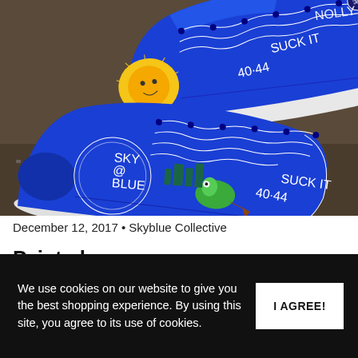[Figure (photo): Photo of two custom-painted blue high-top sneakers (Vans style) on a concrete surface. The shoes are painted bright blue with white laces and feature hand-drawn artwork including 'SKY BLUE' text in a circle, '40-44', 'SUCK IT', and other graffiti-style illustrations including animals and designs.]
December 12, 2017 • Skyblue Collective
Painted
We use cookies on our website to give you the best shopping experience. By using this site, you agree to its use of cookies.